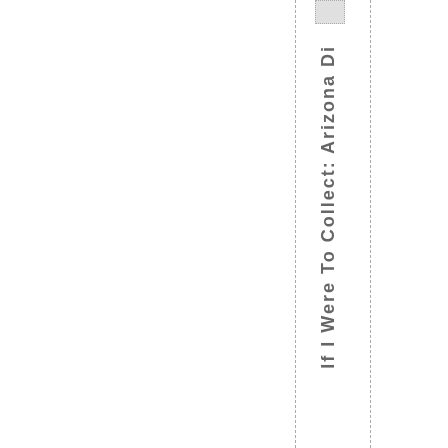If I Were To Collect: Arizona Di...